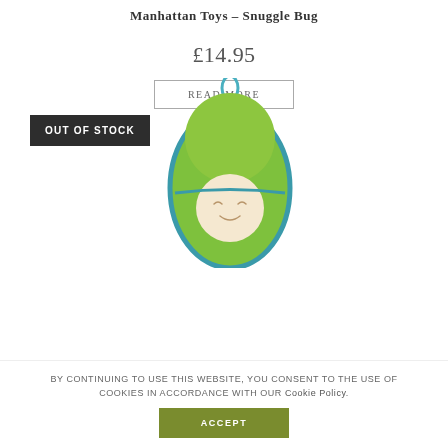Manhattan Toys – Snuggle Bug
£14.95
Read more
[Figure (photo): Photo of Manhattan Toys Snuggle Bug soft toy — a baby doll wrapped in a green pea pod with teal trim and a blue ribbon loop at the top, sleeping with a smile.]
OUT OF STOCK
By continuing to use this website, you consent to the use of cookies in accordance with our Cookie Policy.
ACCEPT